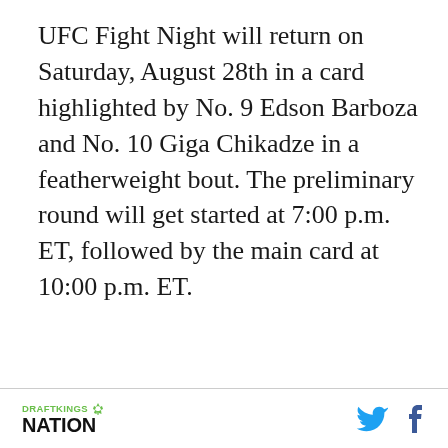UFC Fight Night will return on Saturday, August 28th in a card highlighted by No. 9 Edson Barboza and No. 10 Giga Chikadze in a featherweight bout. The preliminary round will get started at 7:00 p.m. ET, followed by the main card at 10:00 p.m. ET.
DRAFTKINGS NATION [logo with Twitter and Facebook icons]